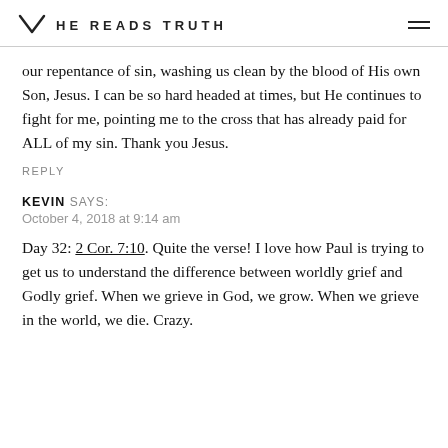HE READS TRUTH
our repentance of sin, washing us clean by the blood of His own Son, Jesus. I can be so hard headed at times, but He continues to fight for me, pointing me to the cross that has already paid for ALL of my sin. Thank you Jesus.
REPLY
KEVIN SAYS:
October 4, 2018 at 9:14 am
Day 32: 2 Cor. 7:10. Quite the verse! I love how Paul is trying to get us to understand the difference between worldly grief and Godly grief. When we grieve in God, we grow. When we grieve in the world, we die. Crazy.